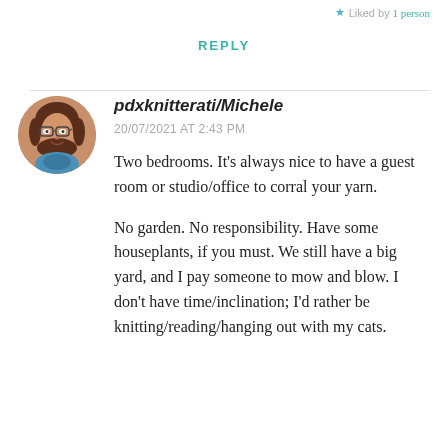Liked by 1 person
REPLY
[Figure (photo): Circular avatar photo of a woman with brown hair, glasses, and a blue scarf, smiling.]
pdxknitterati/Michele
20/07/2021 AT 2:43 PM
Two bedrooms. It's always nice to have a guest room or studio/office to corral your yarn.
No garden. No responsibility. Have some houseplants, if you must. We still have a big yard, and I pay someone to mow and blow. I don't have time/inclination; I'd rather be knitting/reading/hanging out with my cats.